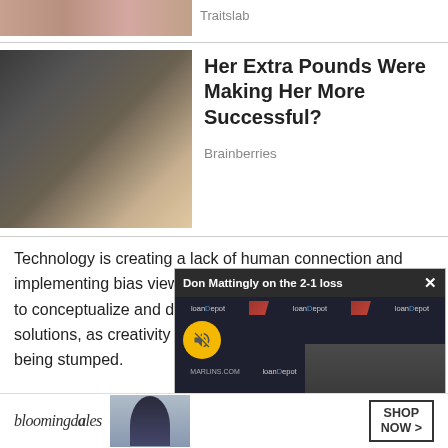[Figure (photo): Cropped top portion of two faces close together]
Traitslab
[Figure (photo): Photo of a blonde woman in a black outfit]
Her Extra Pounds Were Making Her More Successful?
Brainberries
Technology is creating a lack of human connection and implementing bias views and stripping people of the ability to conceptualize and draw their own conclusions and solutions, as creativity and problem-solving development is being stumped.
It's  critical for parents, teachers, and leaders to balance and always mainta
Tips to increase connecti
1. Toge
[Figure (screenshot): Video overlay: Don Mattingly on the 2-1 loss, with loanDepot sponsor banners and muted video of a person at a desk]
[Figure (screenshot): Bloomingdales advertisement banner with model and SHOP NOW button]